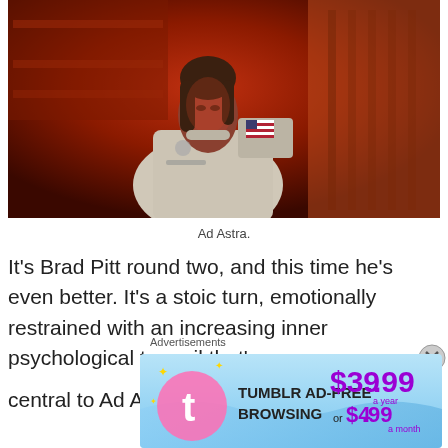[Figure (photo): Person in white astronaut suit with American flag patch standing in a red-lit corridor or room, from the film Ad Astra]
Ad Astra.
It's Brad Pitt round two, and this time he's even better. It's a stoic turn, emotionally restrained with an increasing inner psychological turmoil that's central to Ad Astra's existential character study.
[Figure (screenshot): Tumblr Ad-Free Browsing advertisement banner showing $39.99 a year or $4.99 a month pricing with Tumblr logo]